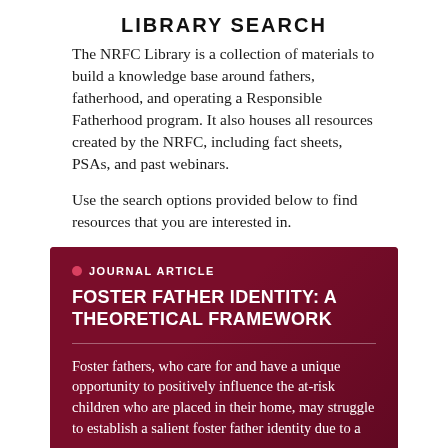LIBRARY SEARCH
The NRFC Library is a collection of materials to build a knowledge base around fathers, fatherhood, and operating a Responsible Fatherhood program. It also houses all resources created by the NRFC, including fact sheets, PSAs, and past webinars.
Use the search options provided below to find resources that you are interested in.
JOURNAL ARTICLE
FOSTER FATHER IDENTITY: A THEORETICAL FRAMEWORK
Foster fathers, who care for and have a unique opportunity to positively influence the at-risk children who are placed in their home, may struggle to establish a salient foster father identity due to a